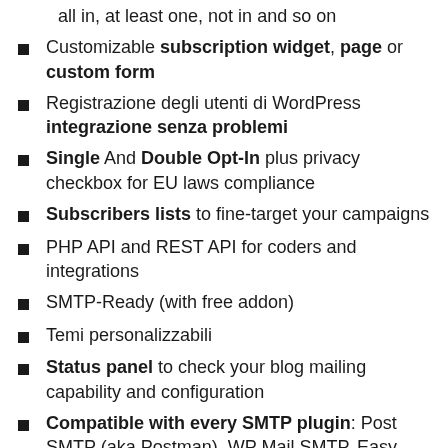all in, at least one, not in and so on
Customizable subscription widget, page or custom form
Registrazione degli utenti di WordPress integrazione senza problemi
Single And Double Opt-In plus privacy checkbox for EU laws compliance
Subscribers lists to fine-target your campaigns
PHP API and REST API for coders and integrations
SMTP-Ready (with free addon)
Temi personalizzabili
Status panel to check your blog mailing capability and configuration
Compatible with every SMTP plugin: Post SMTP (aka Postman), WP Mail SMTP, Easy WP SMTP, Easy SMTP Mail, WP Mail Bank, ...
Subscribers import from file
Newsletter with Html and Text message versions